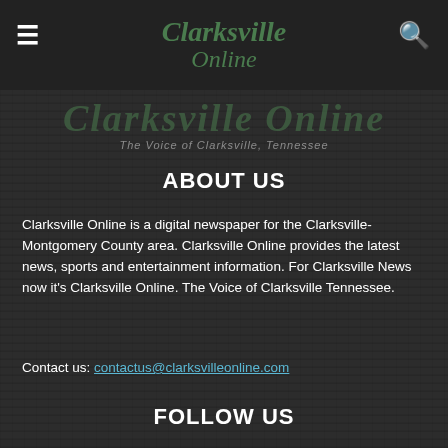Clarksville Online — The Voice of Clarksville, Tennessee
ABOUT US
Clarksville Online is a digital newspaper for the Clarksville-Montgomery County area. Clarksville Online provides the latest news, sports and entertainment information. For Clarksville News now it's Clarksville Online. The Voice of Clarksville Tennessee.
Contact us: contactus@clarksvilleonline.com
FOLLOW US